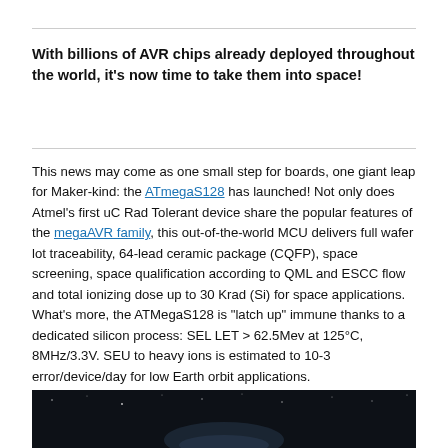With billions of AVR chips already deployed throughout the world, it's now time to take them into space!
This news may come as one small step for boards, one giant leap for Maker-kind: the ATmegaS128 has launched! Not only does Atmel's first uC Rad Tolerant device share the popular features of the megaAVR family, this out-of-the-world MCU delivers full wafer lot traceability, 64-lead ceramic package (CQFP), space screening, space qualification according to QML and ESCC flow and total ionizing dose up to 30 Krad (Si) for space applications. What's more, the ATMegaS128 is "latch up" immune thanks to a dedicated silicon process: SEL LET > 62.5Mev at 125°C, 8MHz/3.3V. SEU to heavy ions is estimated to 10-3 error/device/day for low Earth orbit applications.
[Figure (photo): Dark space/night sky background image strip at bottom of page]